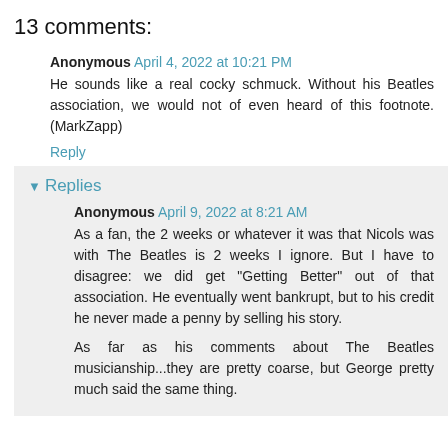13 comments:
Anonymous April 4, 2022 at 10:21 PM
He sounds like a real cocky schmuck. Without his Beatles association, we would not of even heard of this footnote. (MarkZapp)
Reply
Replies
Anonymous April 9, 2022 at 8:21 AM
As a fan, the 2 weeks or whatever it was that Nicols was with The Beatles is 2 weeks I ignore. But I have to disagree: we did get "Getting Better" out of that association. He eventually went bankrupt, but to his credit he never made a penny by selling his story.
As far as his comments about The Beatles musicianship...they are pretty coarse, but George pretty much said the same thing.